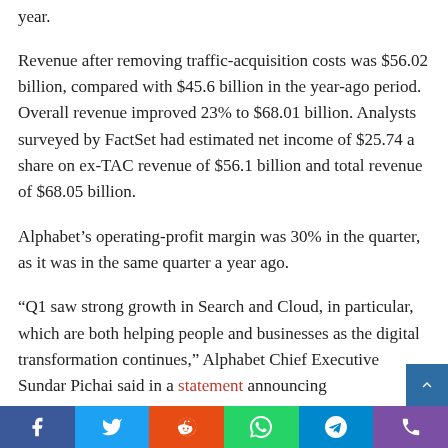year.
Revenue after removing traffic-acquisition costs was $56.02 billion, compared with $45.6 billion in the year-ago period. Overall revenue improved 23% to $68.01 billion. Analysts surveyed by FactSet had estimated net income of $25.74 a share on ex-TAC revenue of $56.1 billion and total revenue of $68.05 billion.
Alphabet’s operating-profit margin was 30% in the quarter, as it was in the same quarter a year ago.
“Q1 saw strong growth in Search and Cloud, in particular, which are both helping people and businesses as the digital transformation continues,” Alphabet Chief Executive Sundar Pichai said in a statement announcing